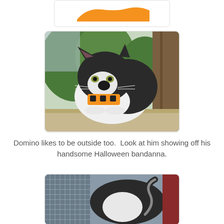[Figure (illustration): Partial orange blob/shape visible at top of page, cropped from above]
[Figure (photo): Black and white tuxedo cat wearing a Halloween bandanna with orange and black pattern, sitting on a carpeted cat tree platform outdoors with greenery in background]
Domino likes to be outside too.  Look at him showing off his handsome Halloween bandanna.
[Figure (photo): Partial photo of a black and white cat visible from below, cropped at bottom of page]